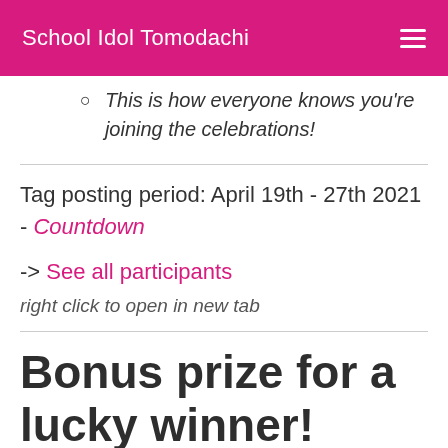School Idol Tomodachi
This is how everyone knows you're joining the celebrations!
Tag posting period: April 19th - 27th 2021 - Countdown
-> See all participants
right click to open in new tab
Bonus prize for a lucky winner!